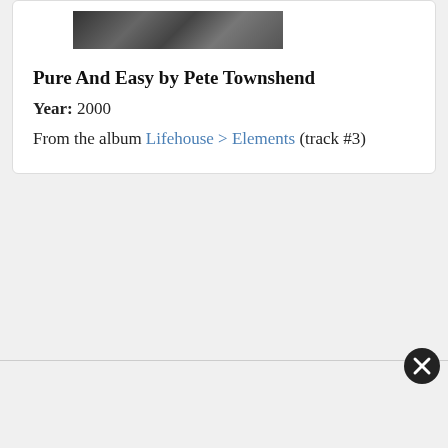[Figure (photo): Album artwork thumbnail showing a dark image of a person at a mixing board or instrument setup]
Pure And Easy by Pete Townshend
Year: 2000
From the album Lifehouse > Elements (track #3)